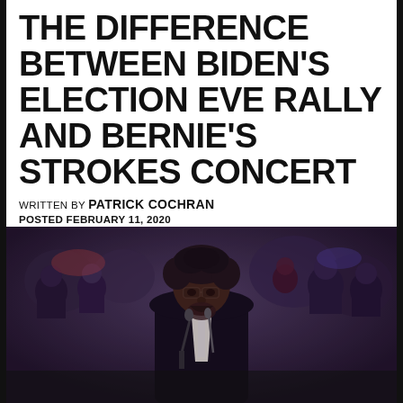THE DIFFERENCE BETWEEN BIDEN'S ELECTION EVE RALLY AND BERNIE'S STROKES CONCERT
WRITTEN BY PATRICK COCHRAN
POSTED FEBRUARY 11, 2020
FILED UNDER: NEWS, NEWS+OPINIONS
[Figure (photo): A man speaking at a microphone at a campaign rally, with a crowd visible in the background]